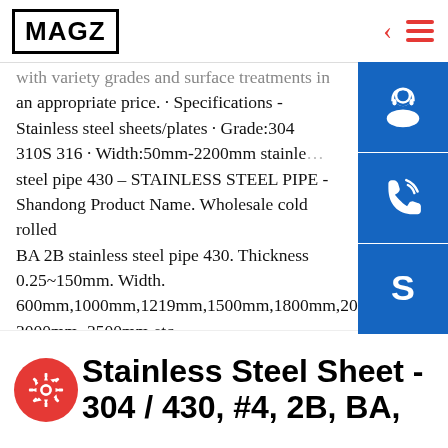MAGZ
with variety grades and surface treatments in an appropriate price. · Specifications - Stainless steel sheets/plates · Grade:304 310S 316 · Width:50mm-2200mm stainless steel pipe 430 - STAINLESS STEEL PIPE - Shandong Product Name. Wholesale cold rolled BA 2B stainless steel pipe 430. Thickness 0.25~150mm. Width. 600mm,1000mm,1219mm,1500mm,1800mm,2000mm 3000mm, 3500mm,etc
Stainless Steel Sheet - 304 / 430, #4, 2B, BA,